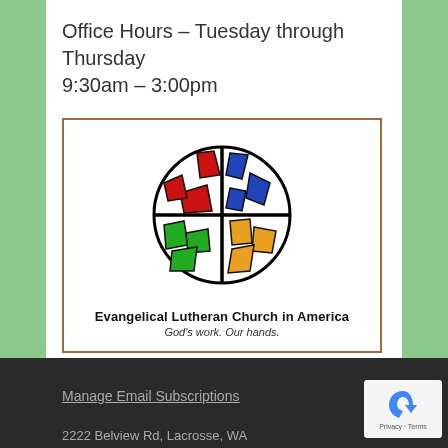Office Hours – Tuesday through Thursday
9:30am – 3:00pm
[Figure (logo): Evangelical Lutheran Church in America logo — a colorful stained-glass globe divided into quadrants with a cross, with red shapes top-left, blue top-right, green bottom-left, and yellow/orange bottom-right. Below: 'Evangelical Lutheran Church in America' and 'God's work. Our hands.']
Manage Email Subscriptions
2222 Belview Rd, Lacrosse, WA